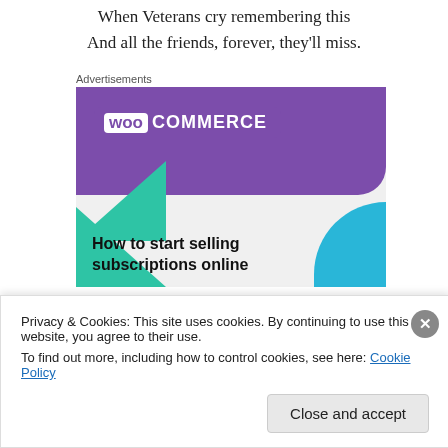When Veterans cry remembering this
And all the friends, forever, they'll miss.
Advertisements
[Figure (illustration): WooCommerce advertisement banner showing the WooCommerce logo on a purple background with teal triangle and blue arc decorative elements, with bold text 'How to start selling subscriptions online']
Privacy & Cookies: This site uses cookies. By continuing to use this website, you agree to their use.
To find out more, including how to control cookies, see here: Cookie Policy
Close and accept